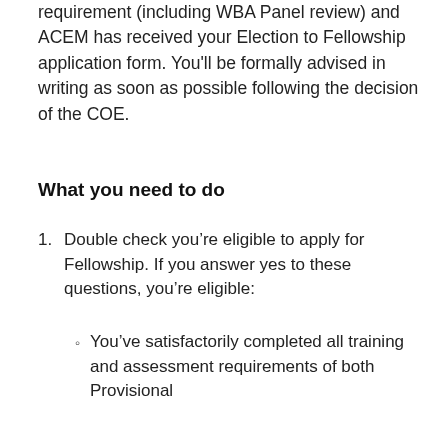requirement (including WBA Panel review) and ACEM has received your Election to Fellowship application form. You'll be formally advised in writing as soon as possible following the decision of the COE.
What you need to do
1. Double check you’re eligible to apply for Fellowship. If you answer yes to these questions, you’re eligible:
◦ You’ve satisfactorily completed all training and assessment requirements of both Provisional